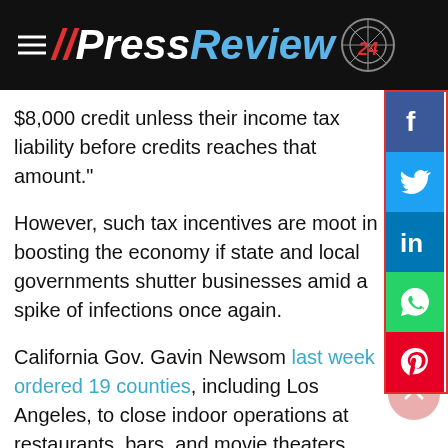PressReview24
$8,000 credit unless their income tax liability before credits reaches that amount."
However, such tax incentives are moot in boosting the economy if state and local governments shutter businesses amid a spike of infections once again.
California Gov. Gavin Newsom last week ordered 19 counties, including Los Angeles, to close indoor operations at restaurants, bars, and movie theaters. Experts say the state reopened too early.
The drive for tax cuts from the Trump administration has skeptics even among conservatives. The Heritage Foundation, a conservative think-tank, said in a report that "changes in tax policy will not have a particularly